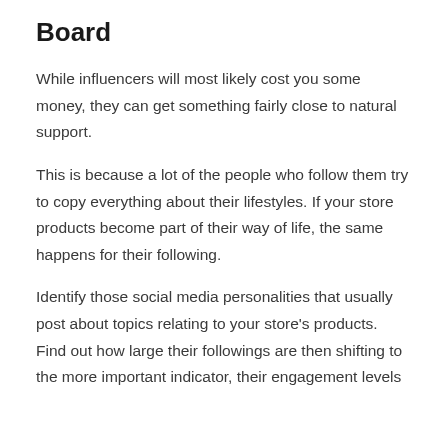Board
While influencers will most likely cost you some money, they can get something fairly close to natural support.
This is because a lot of the people who follow them try to copy everything about their lifestyles. If your store products become part of their way of life, the same happens for their following.
Identify those social media personalities that usually post about topics relating to your store's products. Find out how large their followings are then shifting to the more important indicator, their engagement levels